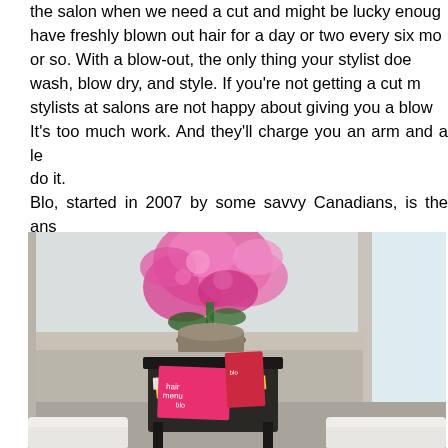the salon when we need a cut and might be lucky enough to have freshly blown out hair for a day or two every six months or so. With a blow-out, the only thing your stylist does is wash, blow dry, and style. If you're not getting a cut most stylists at salons are not happy about giving you a blow out. It's too much work. And they'll charge you an arm and a leg to do it.
Blo, started in 2007 by some savvy Canadians, is the answer to the question, "Why isn't there a place to get quick, affordable, catwalk quality blow outs?"
[Figure (photo): Interior photo of a salon waiting area corner with a small dark table holding magazines including one with a pink cover labeled 'hair menu blo', a large arrangement of bright pink orchid flowers in a pot, a window with white trim letting in light, and two white upholstered ottomans/seats visible at the bottom.]